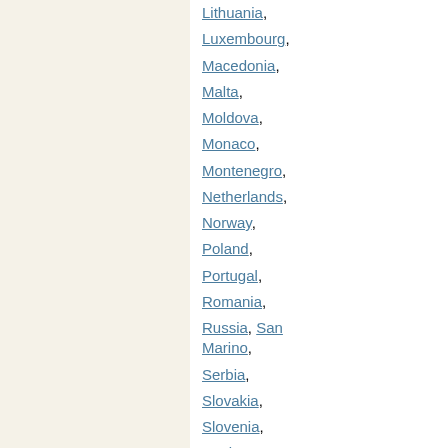Lithuania,
Luxembourg,
Macedonia,
Malta,
Moldova,
Monaco,
Montenegro,
Netherlands,
Norway,
Poland,
Portugal,
Romania,
Russia, San Marino,
Serbia,
Slovakia,
Slovenia,
Spain,
Sweden,
Switzerland,
Ukraine,
United